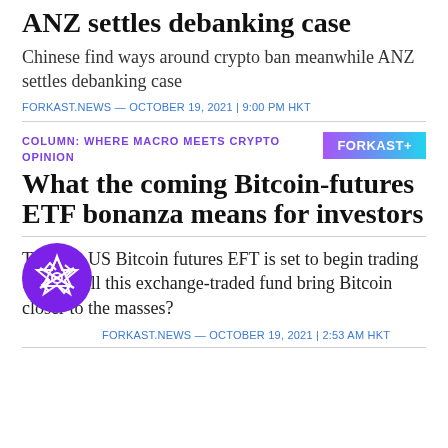ANZ settles debanking case
Chinese find ways around crypto ban meanwhile ANZ settles debanking case
FORKAST.NEWS — OCTOBER 19, 2021 | 9:00 PM HKT
COLUMN: WHERE MACRO MEETS CRYPTO OPINION
What the coming Bitcoin-futures ETF bonanza means for investors
The first US Bitcoin futures EFT is set to begin trading today. Will this exchange-traded fund bring Bitcoin closer to the masses?
FORKAST.NEWS — OCTOBER 19, 2021 | 2:53 AM HKT